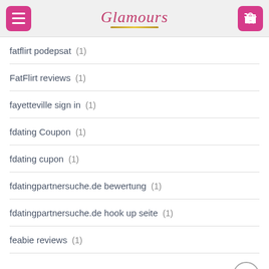Glamours
fatflirt podepsat (1)
FatFlirt reviews (1)
fayetteville sign in (1)
fdating Coupon (1)
fdating cupon (1)
fdatingpartnersuche.de bewertung (1)
fdatingpartnersuche.de hook up seite (1)
feabie reviews (1)
Feeld podepsat (1)
Feeld seite (1)